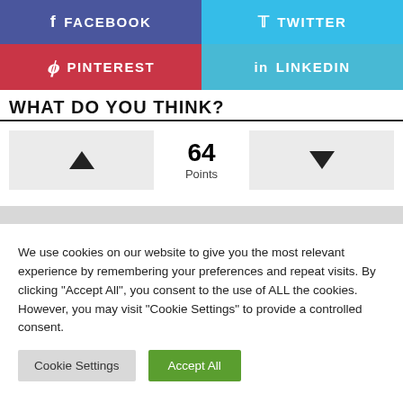[Figure (other): Social share buttons row 1: Facebook (purple) and Twitter (light blue)]
[Figure (other): Social share buttons row 2: Pinterest (red) and LinkedIn (light blue)]
WHAT DO YOU THINK?
[Figure (other): Voting widget with up arrow, 64 Points, and down arrow buttons]
We use cookies on our website to give you the most relevant experience by remembering your preferences and repeat visits. By clicking "Accept All", you consent to the use of ALL the cookies. However, you may visit "Cookie Settings" to provide a controlled consent.
Cookie Settings
Accept All